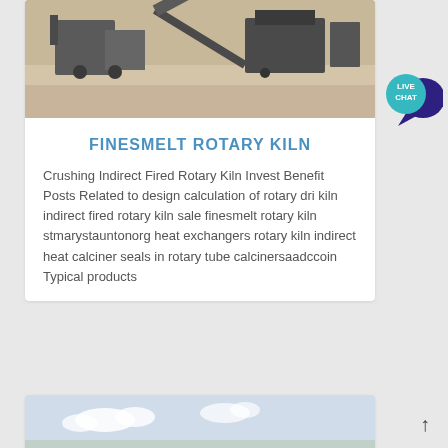[Figure (photo): Industrial equipment/machinery at a construction or mining site, viewed from above]
FINESMELT ROTARY KILN
Crushing Indirect Fired Rotary Kiln Invest Benefit Posts Related to design calculation of rotary dri kiln indirect fired rotary kiln sale finesmelt rotary kiln stmarystauntonorg heat exchangers rotary kiln indirect heat calciner seals in rotary tube calcinersaadccoin Typical products
[Figure (photo): Outdoor scene with sky and clouds, partial view of industrial site]